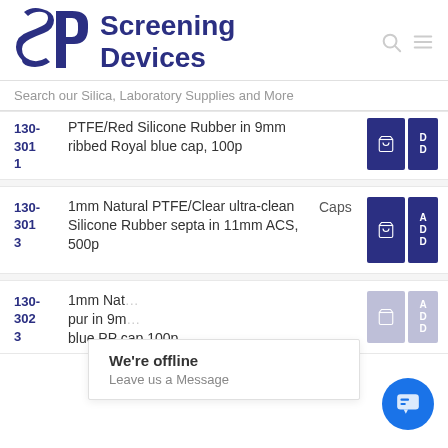[Figure (logo): SD Screening Devices logo with stylized SD monogram and text]
Search our Silica, Laboratory Supplies and More
130-3011 PTFE/Red Silicone Rubber in 9mm ribbed Royal blue cap, 100p
130-3013 1mm Natural PTFE/Clear ultra-clean Silicone Rubber septa in 11mm ACS, 500p — Caps
130-3023 1mm Natural pur in 9mm blue PP cap 100p